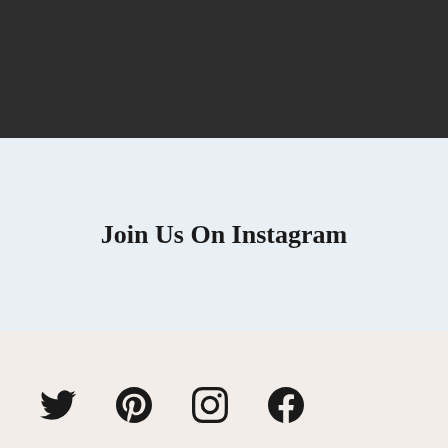[Figure (illustration): Dark charcoal/near-black background section at top of page]
Join Us On Instagram
[Figure (illustration): Social media icons row: Twitter bird, Pinterest P-in-circle, Instagram camera rounded square, Facebook F-in-circle]